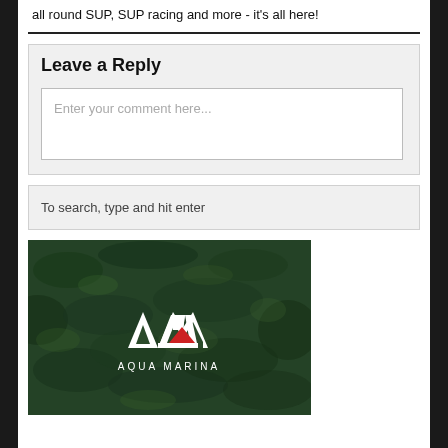all round SUP, SUP racing and more - it's all here!
Leave a Reply
Enter your comment here...
To search, type and hit enter
[Figure (logo): Aqua Marina logo with AM monogram and red triangle on dark green water texture background, with text AQUA MARINA below]